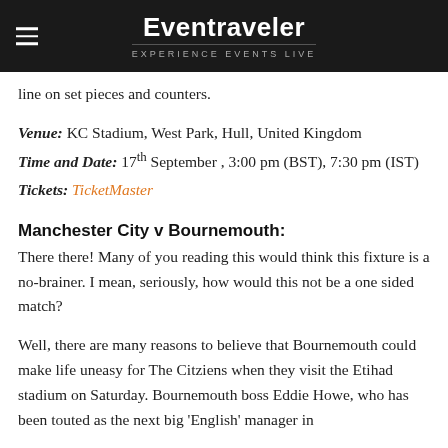Eventraveler — EXPERIENCE EVENTS LIVE
line on set pieces and counters.
Venue: KC Stadium, West Park, Hull, United Kingdom
Time and Date: 17th September , 3:00 pm (BST), 7:30 pm (IST)
Tickets: TicketMaster
Manchester City v Bournemouth:
There there! Many of you reading this would think this fixture is a no-brainer. I mean, seriously, how would this not be a one sided match?
Well, there are many reasons to believe that Bournemouth could make life uneasy for The Citziens when they visit the Etihad stadium on Saturday. Bournemouth boss Eddie Howe, who has been touted as the next big 'English' manager in